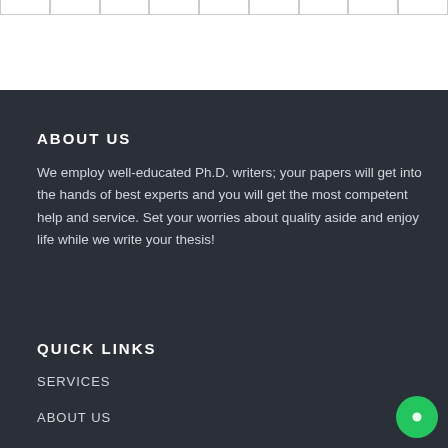|   |   |   |   |   |   |   |   |   |
ABOUT US
We employ well-educated Ph.D. writers; your papers will get into the hands of best experts and you will get the most competent help and service. Set your worries about quality aside and enjoy life while we write your thesis!
QUICK LINKS
SERVICES
ABOUT US